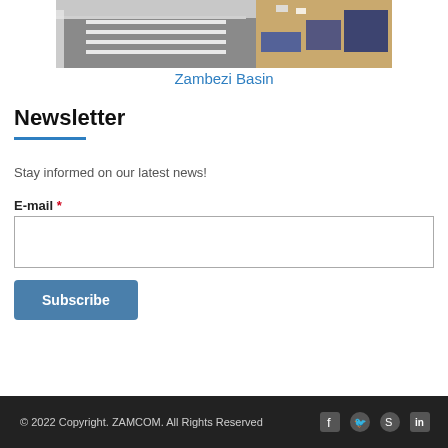[Figure (photo): Aerial view of a road/bridge construction site with lanes and construction equipment]
Zambezi Basin
Newsletter
Stay informed on our latest news!
E-mail *
Subscribe
© 2022 Copyright. ZAMCOM. All Rights Reserved